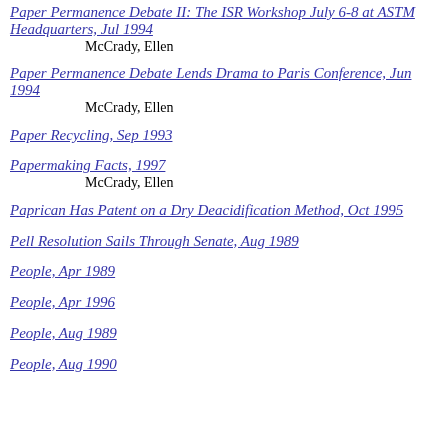Paper Permanence Debate II: The ISR Workshop July 6-8 at ASTM Headquarters, Jul 1994
McCrady, Ellen
Paper Permanence Debate Lends Drama to Paris Conference, Jun 1994
McCrady, Ellen
Paper Recycling, Sep 1993
Papermaking Facts, 1997
McCrady, Ellen
Paprican Has Patent on a Dry Deacidification Method, Oct 1995
Pell Resolution Sails Through Senate, Aug 1989
People, Apr 1989
People, Apr 1996
People, Aug 1989
People, Aug 1990